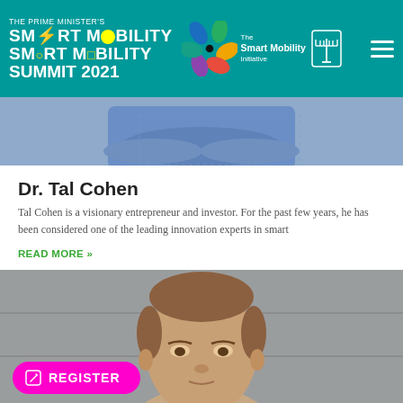THE PRIME MINISTER'S SMART MOBILITY SUMMIT 2021 | The Smart Mobility Initiative
[Figure (photo): Cropped photo of a person with crossed arms wearing a blue checked shirt, top half visible]
Dr. Tal Cohen
Tal Cohen is a visionary entrepreneur and investor. For the past few years, he has been considered one of the leading innovation experts in smart
READ MORE »
[Figure (photo): Photo of a man with short brown hair against a gray concrete wall background, face and upper torso visible]